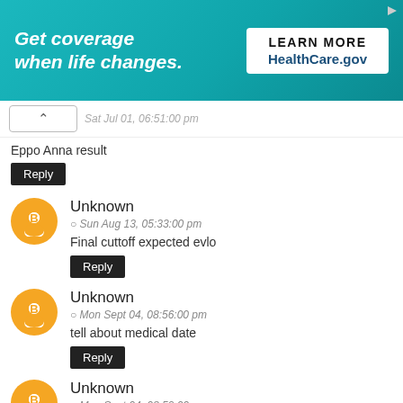[Figure (infographic): HealthCare.gov advertisement banner: teal/cyan background with italic white bold text 'Get coverage when life changes.' and a white call-to-action box reading 'LEARN MORE HealthCare.gov']
Sat Jul 01, 06:51:00 pm
Eppo Anna result
Reply
Unknown
Sun Aug 13, 05:33:00 pm
Final cuttoff expected evlo
Reply
Unknown
Mon Sept 04, 08:56:00 pm
tell about medical date
Reply
Unknown
Mon Sept 04, 08:59:00 pm